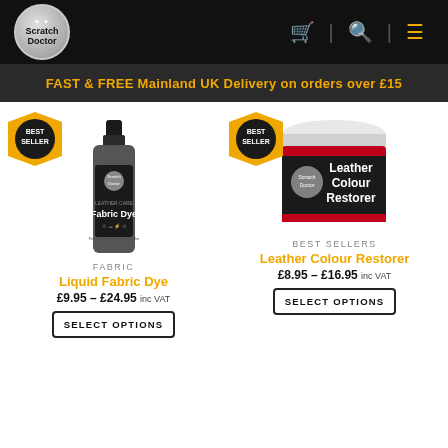Scratch Doctor — navigation header with cart, search, and menu icons
FAST & FREE Mainland UK Delivery on orders over £15
[Figure (photo): Scratch Doctor Fabric Dye bottle (dark grey liquid, 250ml) with Best Seller badge]
FABRIC
Liquid Fabric Dye
£9.95 – £24.95 inc VAT
SELECT OPTIONS
[Figure (photo): Scratch Doctor Leather Colour Restorer jar (red and black, 250ml) with Best Seller badge]
BEST SELLERS
Leather Colour Restorer
£8.95 – £16.95 inc VAT
SELECT OPTIONS